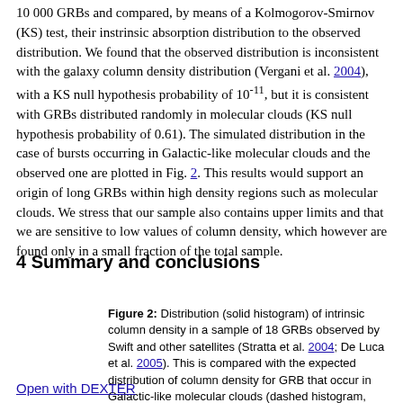10 000 GRBs and compared, by means of a Kolmogorov-Smirnov (KS) test, their instrinsic absorption distribution to the observed distribution. We found that the observed distribution is inconsistent with the galaxy column density distribution (Vergani et al. 2004), with a KS null hypothesis probability of 10^-11, but it is consistent with GRBs distributed randomly in molecular clouds (KS null hypothesis probability of 0.61). The simulated distribution in the case of bursts occurring in Galactic-like molecular clouds and the observed one are plotted in Fig. 2. This results would support an origin of long GRBs within high density regions such as molecular clouds. We stress that our sample also contains upper limits and that we are sensitive to low values of column density, which however are found only in a small fraction of the total sample.
4 Summary and conclusions
Figure 2: Distribution (solid histogram) of intrinsic column density in a sample of 18 GRBs observed by Swift and other satellites (Stratta et al. 2004; De Luca et al. 2005). This is compared with the expected distribution of column density for GRB that occur in Galactic-like molecular clouds (dashed histogram, from Reichart & Price 2002).
Open with DEXTER